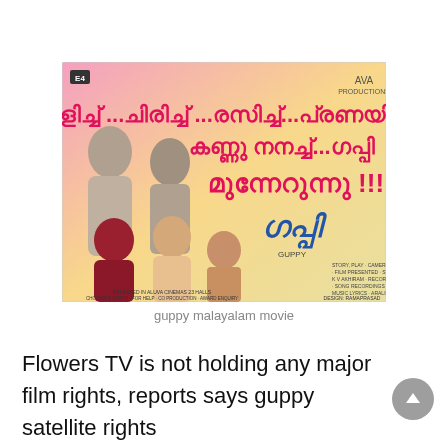[Figure (photo): Movie poster for 'Guppy', a Malayalam film. The poster features several actors, Malayalam script text in bold pink/red reading promotional tagline, and the movie title 'Guppy' in stylized text. Background is pink/golden gradient. Small production credits appear on the right side.]
guppy malayalam movie
Flowers TV is not holding any major film rights, reports says guppy satellite rights